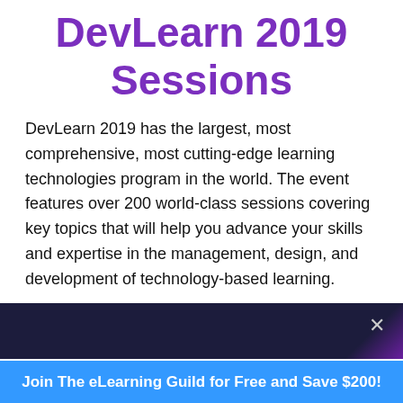DevLearn 2019 Sessions
DevLearn 2019 has the largest, most comprehensive, most cutting-edge learning technologies program in the world. The event features over 200 world-class sessions covering key topics that will help you advance your skills and expertise in the management, design, and development of technology-based learning.
[Figure (infographic): Advertisement banner with dark navy background and purple gradient corner, featuring a close (X) button, with a blue section at the bottom containing text: Join The eLearning Guild for Free and Save $200!]